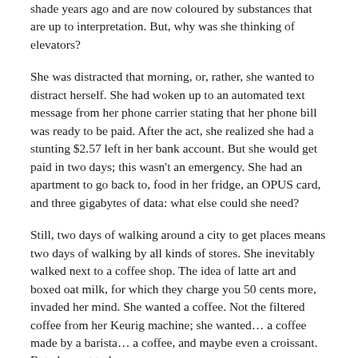shade years ago and are now coloured by substances that are up to interpretation. But, why was she thinking of elevators?
She was distracted that morning, or, rather, she wanted to distract herself. She had woken up to an automated text message from her phone carrier stating that her phone bill was ready to be paid. After the act, she realized she had a stunting $2.57 left in her bank account. But she would get paid in two days; this wasn't an emergency. She had an apartment to go back to, food in her fridge, an OPUS card, and three gigabytes of data: what else could she need?
Still, two days of walking around a city to get places means two days of walking by all kinds of stores. She inevitably walked next to a coffee shop. The idea of latte art and boxed oat milk, for which they charge you 50 cents more, invaded her mind. She wanted a coffee. Not the filtered coffee from her Keurig machine; she wanted… a coffee made by a barista… a coffee, and maybe even a croissant. But alas, not today.
She wasn't poor, but she wasn't rich either. She was, quite